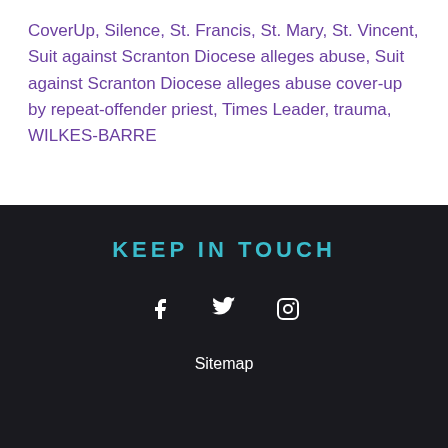CoverUp, Silence, St. Francis, St. Mary, St. Vincent, Suit against Scranton Diocese alleges abuse, Suit against Scranton Diocese alleges abuse cover-up by repeat-offender priest, Times Leader, trauma, WILKES-BARRE
KEEP IN TOUCH
[Figure (infographic): Social media icons: Facebook, Twitter, Instagram in white on dark background]
Sitemap